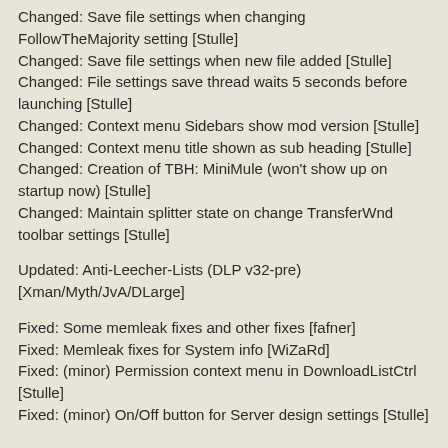Changed: Save file settings when changing FollowTheMajority setting [Stulle]
Changed: Save file settings when new file added [Stulle]
Changed: File settings save thread waits 5 seconds before launching [Stulle]
Changed: Context menu Sidebars show mod version [Stulle]
Changed: Context menu title shown as sub heading [Stulle]
Changed: Creation of TBH: MiniMule (won't show up on startup now) [Stulle]
Changed: Maintain splitter state on change TransferWnd toolbar settings [Stulle]
Updated: Anti-Leecher-Lists (DLP v32-pre) [Xman/Myth/JvA/DLarge]
Fixed: Some memleak fixes and other fixes [fafner]
Fixed: Memleak fixes for System info [WiZaRd]
Fixed: (minor) Permission context menu in DownloadListCtrl [Stulle]
Fixed: (minor) On/Off button for Server design settings [Stulle]